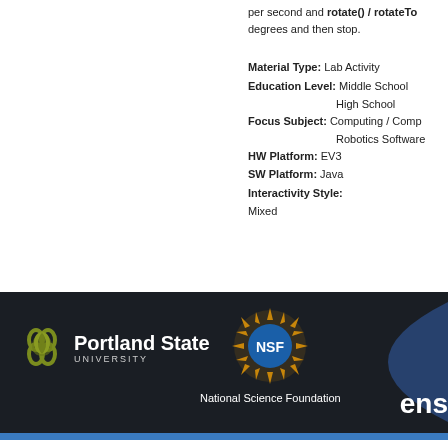per second and rotate() / rotateTo degrees and then stop.
Material Type: Lab Activity
Education Level: Middle School
High School
Focus Subject: Computing / Comp
Robotics Software
HW Platform: EV3
SW Platform: Java
Interactivity Style:
Mixed
[Figure (logo): Portland State University logo with olive green icon and white text on dark background]
[Figure (logo): National Science Foundation (NSF) circular gold and blue emblem with text below reading National Science Foundation]
[Figure (logo): Partial logo/text showing 'ens' in white bold text on dark background, right side]